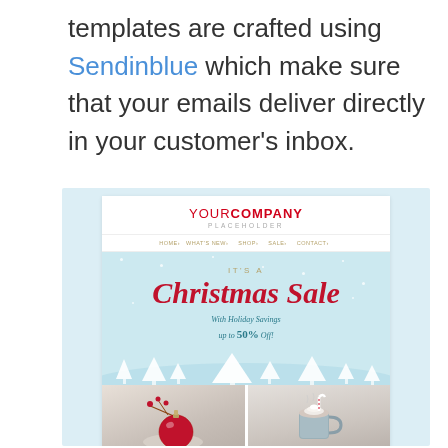templates are crafted using Sendinblue which make sure that your emails deliver directly in your customer's inbox.
[Figure (screenshot): Screenshot of a Christmas Sale email template with YOURCOMPANY PLACEHOLDER header, navigation links (HOME, WHAT'S NEW, SHOP, SALE, CONTACT), a light blue hero banner reading 'IT'S A Christmas Sale With Holiday Savings up to 50% Off!' with white tree silhouettes, and two product photo panels below showing a red Christmas ornament and a hot cocoa mug.]